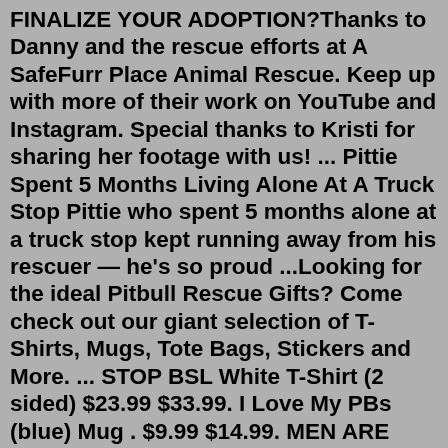FINALIZE YOUR ADOPTION?Thanks to Danny and the rescue efforts at A SafeFurr Place Animal Rescue. Keep up with more of their work on YouTube and Instagram. Special thanks to Kristi for sharing her footage with us! ... Pittie Spent 5 Months Living Alone At A Truck Stop Pittie who spent 5 months alone at a truck stop kept running away from his rescuer — he's so proud ...Looking for the ideal Pitbull Rescue Gifts? Come check out our giant selection of T-Shirts, Mugs, Tote Bags, Stickers and More. ... STOP BSL White T-Shirt (2 sided) $23.99 $33.99. I Love My PBs (blue) Mug . $9.99 $14.99. MEN ARE LIKE RECIPES License Plate Frame. $16.99 $24.99. Bright Pittie Mug. $9.99 $14.99. Bully for Me Mug. $9.99 $14.99 ...Pittie Kicked Out Of Dog Park Does The Most Amazing Thing | The Dodo Pittie Nation 04.08.2022; 2562 . House Full Of Four Rescue Pitties Are Obsessed With The Pool | The Dodo Pittie Nation 04.08.2022; 891 . ... How to Stop a Puppy From Peeing When Excited. 13.06.2022; 838 Are Dogs